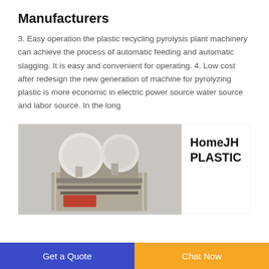Manufacturers
3. Easy operation the plastic recycling pyrolysis plant machinery can achieve the process of automatic feeding and automatic slagging. It is easy and convenient for operating. 4. Low cost after redesign the new generation of machine for pyrolyzing plastic is more economic in electric power source water source and labor source. In the long
[Figure (photo): Industrial plastic recycling pyrolysis machine with white dome-shaped tops and metal body]
HomeJH PLASTIC
Get a Quote  |  Chat Now